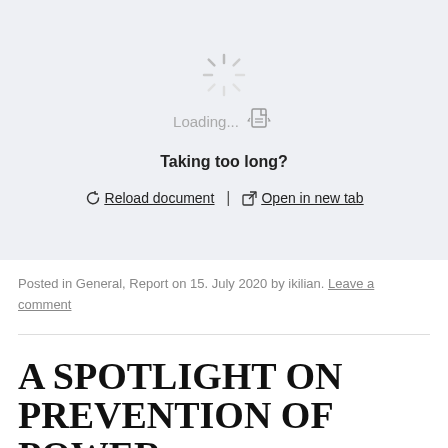[Figure (screenshot): A document embed placeholder showing a loading spinner, document icon with 'Loading...' text, 'Taking too long?' message, and links to 'Reload document' and 'Open in new tab' on a light gray background.]
Posted in General, Report on 15. July 2020 by ikilian. Leave a comment
A SPOTLIGHT ON PREVENTION OF POWER